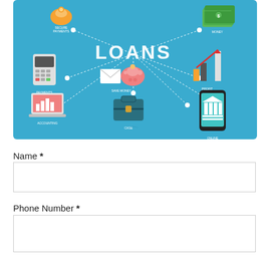[Figure (infographic): A colorful isometric infographic on a blue background illustrating loan-related concepts. Central text reads LOANS in bold white. Connected icons include: secure payments (piggy bank with coins), money (stack of cash), payments (payment terminal), save money (envelope and pink piggy bank), profit (bar chart with red arrow), accounting (laptop with chart), case (briefcase), online banking (smartphone with bank icon). Icons are connected with white dotted lines in a flowchart pattern.]
Name *
Phone Number *